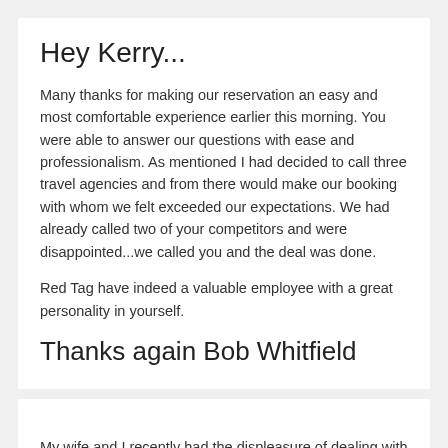Hey Kerry...
Many thanks for making our reservation an easy and most comfortable experience earlier this morning. You were able to answer our questions with ease and professionalism. As mentioned I had decided to call three travel agencies and from there would make our booking with whom we felt exceeded our expectations. We had already called two of your competitors and were disappointed...we called you and the deal was done.
Red Tag have indeed a valuable employee with a great personality in yourself.
Thanks again Bob Whitfield
My wife and I recently had the displeasure of dealing with an Ottawa-based travel agency. Instead of feeling like we were being taken care of while planning our Mexico trip, we felt like